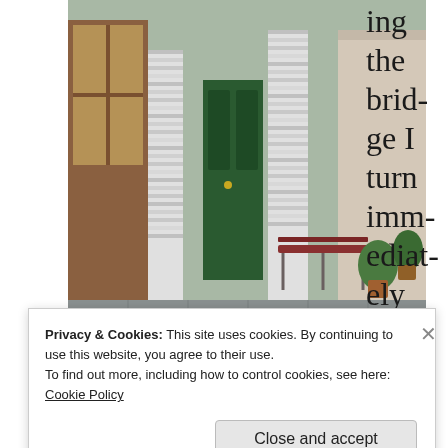[Figure (photo): Photo of Wigtown street showing a building with book spines covering its exterior pillars and walls, a wooden bench, potted plants, and cobblestone pavement. The building appears to be a bookshop.]
Wigtown – Town of Books
ing the bridge I turn immediately left and follow a small side road which passes
Privacy & Cookies: This site uses cookies. By continuing to use this website, you agree to their use.
To find out more, including how to control cookies, see here:
Cookie Policy

Close and accept